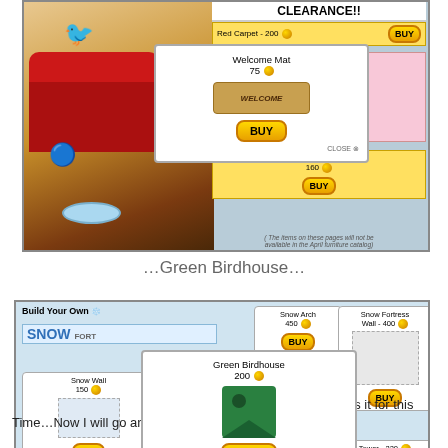[Figure (screenshot): Club Penguin furniture catalog screenshot showing CLEARANCE!! page with Welcome Mat popup (75 coins), Red Carpet 200 coins, blue curtain item, and Velvet Rope 160 coins with BUY buttons]
…Green Birdhouse…
[Figure (screenshot): Club Penguin Build Your Own Snow Fort catalog screenshot showing Green Birdhouse popup (200 coins), Snow Arch 450 coins, Snow Fortress Wall 400 coins, Snow Wall 150 coins, Tower 220 coins, Snow Clump 40 coins]
That was it for this Time…Now I will go and Decorate Our New Igloo :)